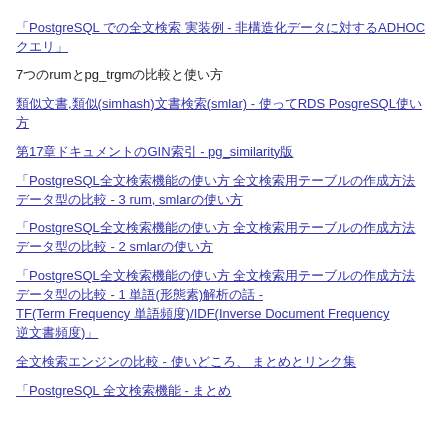PostgreSQL での全文検索 実装例 - 非構造化データに対するADHOCクエリ
7つのrumとpg_trgmの比較と使い方
類似文書,類似(simhash)文書検索(smlar) - 使ってRDS PosgreSQL使い方
第17章ドキュメントのGIN索引 - pg_similarity版
「PostgreSQL全文検索機能の使い方 全文検索用テーブルの作成方法 データ型の比較 - 3 rum, smlarの使い方
「PostgreSQL全文検索機能の使い方 全文検索用テーブルの作成方法 データ型の比較 - 2 smlarの使い方
「PostgreSQL全文検索機能の使い方 全文検索用テーブルの作成方法 データ型の比較 - 1 単語(形態素)解析の話 - TF(Term Frequency 単語頻度)/IDF(Inverse Document Frequency 逆文書頻度)」
全文検索エンジンの比較 - 使いどころ、 まとめとリンク集
「PostgreSQL 全文検索機能 - まとめ